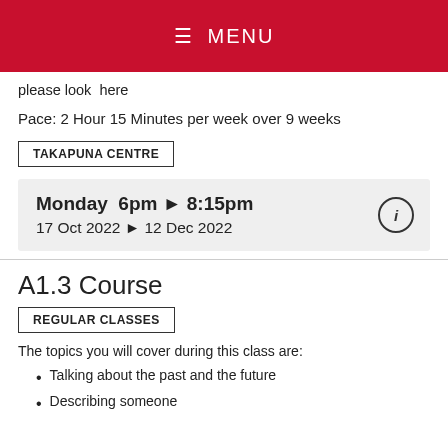This class is step 2 of 4 towards DELF A1 (Official French
≡  MENU
please look  here
Pace: 2 Hour 15 Minutes per week over 9 weeks
TAKAPUNA CENTRE
Monday  6pm ▶ 8:15pm
17 Oct 2022 ▶ 12 Dec 2022
A1.3 Course
REGULAR CLASSES
The topics you will cover during this class are:
Talking about the past and the future
Describing someone